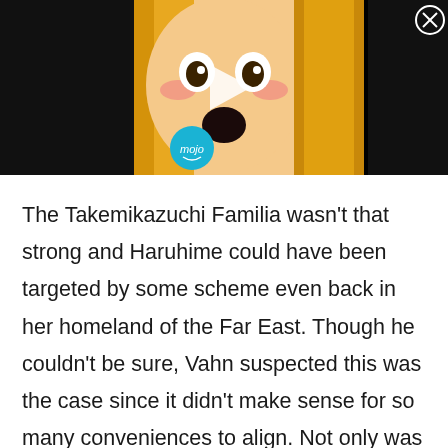[Figure (screenshot): Video thumbnail showing an anime character with blonde hair, a surprised/emotional expression with a play button overlay and the WatchMojo 'mojo' logo in teal circle. A close (X) button is visible in the top right.]
The Takemikazuchi Familia wasn't that strong and Haruhime could have been targeted by some scheme even back in her homeland of the Far East. Though he couldn't be sure, Vahn suspected this was the case since it didn't make sense for so many conveniences to align. Not only was she framed, but when her father was pressured by others and left her to a Pallum